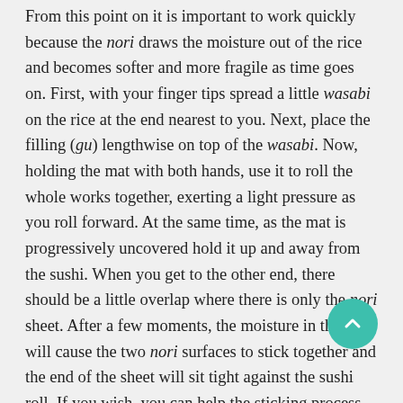From this point on it is important to work quickly because the nori draws the moisture out of the rice and becomes softer and more fragile as time goes on. First, with your finger tips spread a little wasabi on the rice at the end nearest to you. Next, place the filling (gu) lengthwise on top of the wasabi. Now, holding the mat with both hands, use it to roll the whole works together, exerting a light pressure as you roll forward. At the same time, as the mat is progressively uncovered hold it up and away from the sushi. When you get to the other end, there should be a little overlap where there is only the nori sheet. After a few moments, the moisture in the rice will cause the two nori surfaces to stick together and the end of the sheet will sit tight against the sushi roll. If you wish, you can help the sticking process along by placing the sushi roll so that the overlap is on the bottom and it will soon form a fine seal. Anything that sticks out at the ends of the roll can be pushed in or cut off. But in some cases the bits that are poking out can have a decorative effect.